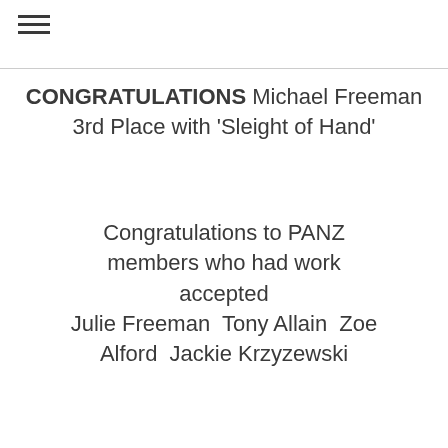≡
CONGRATULATIONS Michael Freeman
3rd Place with 'Sleight of Hand'
Congratulations to PANZ members who had work accepted
Julie Freeman  Tony Allain  Zoe Alford  Jackie Krzyzewski